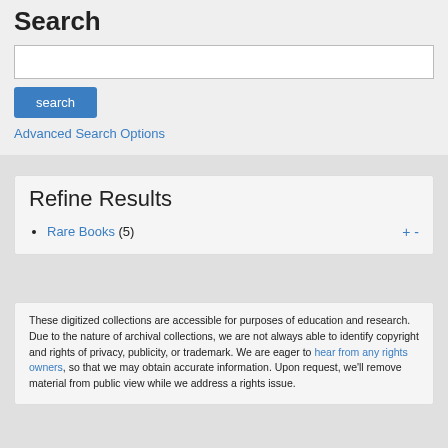Search
Advanced Search Options
Refine Results
Rare Books (5)
These digitized collections are accessible for purposes of education and research. Due to the nature of archival collections, we are not always able to identify copyright and rights of privacy, publicity, or trademark. We are eager to hear from any rights owners, so that we may obtain accurate information. Upon request, we'll remove material from public view while we address a rights issue.